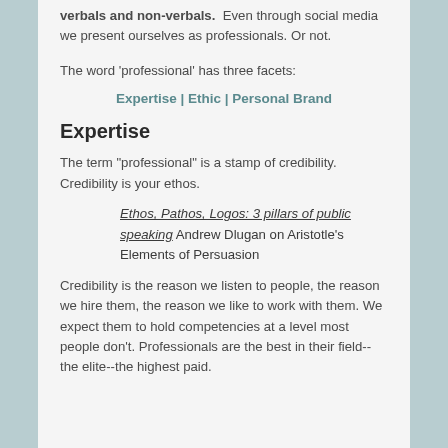verbals and non-verbals. Even through social media we present ourselves as professionals. Or not.
The word 'professional' has three facets:
Expertise | Ethic | Personal Brand
Expertise
The term "professional" is a stamp of credibility. Credibility is your ethos.
Ethos, Pathos, Logos: 3 pillars of public speaking Andrew Dlugan on Aristotle's Elements of Persuasion
Credibility is the reason we listen to people, the reason we hire them, the reason we like to work with them. We expect them to hold competencies at a level most people don't. Professionals are the best in their field--the elite--the highest paid.